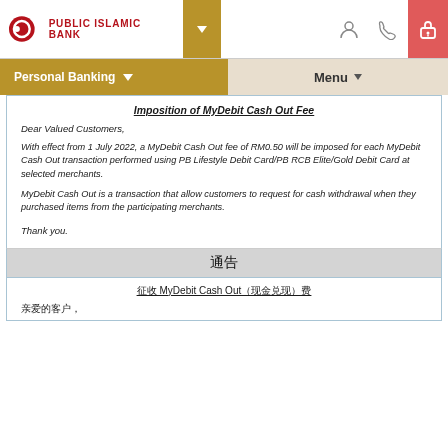PUBLIC ISLAMIC BANK — Personal Banking | Menu
Imposition of MyDebit Cash Out Fee
Dear Valued Customers,
With effect from 1 July 2022, a MyDebit Cash Out fee of RM0.50 will be imposed for each MyDebit Cash Out transaction performed using PB Lifestyle Debit Card/PB RCB Elite/Gold Debit Card at selected merchants.
MyDebit Cash Out is a transaction that allow customers to request for cash withdrawal when they purchased items from the participating merchants.
Thank you.
通告
征收 MyDebit Cash Out（现金兑现）费
亲爱的客户,